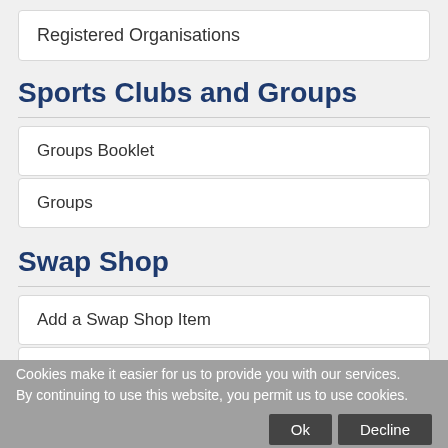Registered Organisations
Sports Clubs and Groups
Groups Booklet
Groups
Swap Shop
Add a Swap Shop Item
Swap Shop Items
Carers' Resource - Online group
Cookies make it easier for us to provide you with our services. By continuing to use this website, you permit us to use cookies.